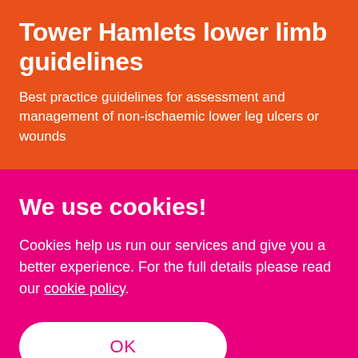Tower Hamlets lower limb guidelines
Best practice guidelines for assessment and management of non-ischaemic lower leg ulcers or wounds
We use cookies!
Cookies help us run our services and give you a better experience. For the full details please read our cookie policy.
OK